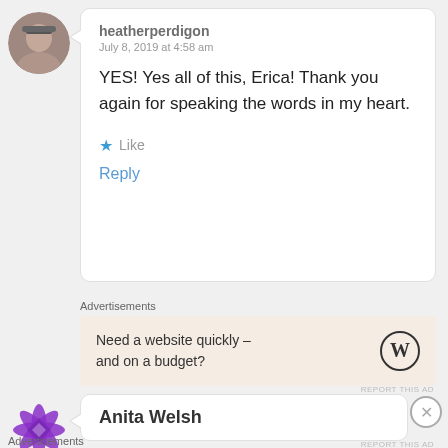[Figure (photo): Circular avatar photo of a person (heatherperdigon)]
heatherperdigon
July 8, 2019 at 4:58 am
YES! Yes all of this, Erica! Thank you again for speaking the words in my heart.
★ Like
Reply
Advertisements
Need a website quickly – and on a budget?
REPORT THIS AD
[Figure (logo): Purple geometric star/snowflake logo for Anita Welsh]
Anita Welsh
Advertisements
REPORT THIS AD